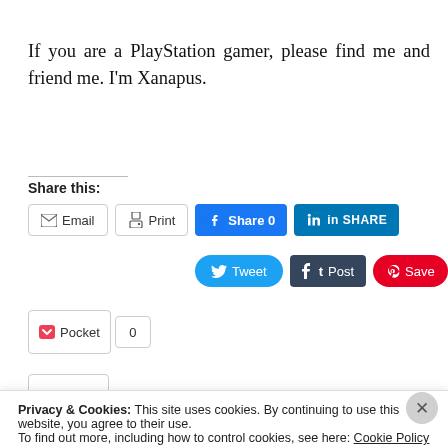If you are a PlayStation gamer, please find me and friend me. I'm Xanapus.
Share this:
[Figure (screenshot): Social sharing buttons row 1: Email, Print, Facebook Share 0, LinkedIn SHARE]
[Figure (screenshot): Social sharing buttons row 2: Tweet, Post (Tumblr), Save (Pinterest)]
[Figure (screenshot): Pocket button with count 0]
[Figure (screenshot): Like button with blue star]
Privacy & Cookies: This site uses cookies. By continuing to use this website, you agree to their use.
To find out more, including how to control cookies, see here: Cookie Policy
[Figure (screenshot): Close and accept button in cookie banner]